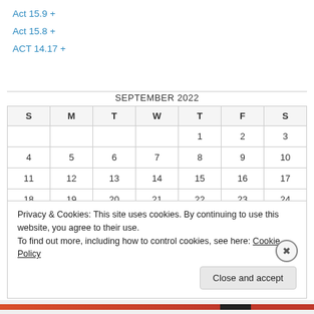Act 15.9 +
Act 15.8 +
ACT 14.17 +
| S | M | T | W | T | F | S |
| --- | --- | --- | --- | --- | --- | --- |
|  |  |  |  | 1 | 2 | 3 |
| 4 | 5 | 6 | 7 | 8 | 9 | 10 |
| 11 | 12 | 13 | 14 | 15 | 16 | 17 |
| 18 | 19 | 20 | 21 | 22 | 23 | 24 |
| 25 | 26 | 27 | 28 | 29 | 30 |  |
Privacy & Cookies: This site uses cookies. By continuing to use this website, you agree to their use.
To find out more, including how to control cookies, see here: Cookie Policy